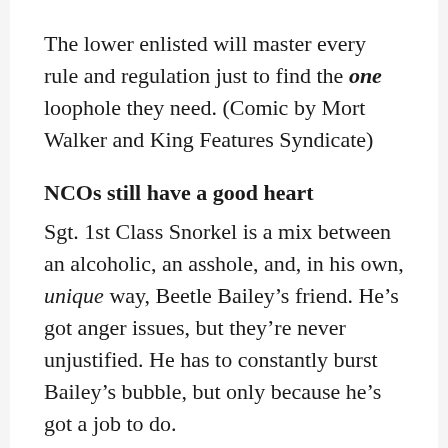The lower enlisted will master every rule and regulation just to find the one loophole they need. (Comic by Mort Walker and King Features Syndicate)
NCOs still have a good heart
Sgt. 1st Class Snorkel is a mix between an alcoholic, an asshole, and, in his own, unique way, Beetle Bailey’s friend. He’s got anger issues, but they’re never unjustified. He has to constantly burst Bailey’s bubble, but only because he’s got a job to do.